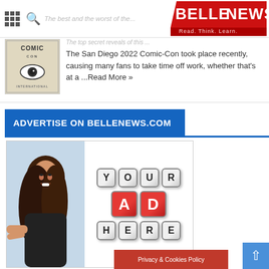BelleNews - Read. Think. Learn.
[Figure (logo): BELLENEWS logo in red and white with tagline 'Read. Think. Learn.']
[Figure (illustration): Comic-Con International logo thumbnail]
The San Diego 2022 Comic-Con took place recently, causing many fans to take time off work, whether that's at a ...Read More »
ADVERTISE ON BELLENEWS.COM
[Figure (advertisement): Advertisement placeholder showing a woman peeking from the left and letter blocks spelling YOUR AD HERE]
Privacy & Cookies Policy